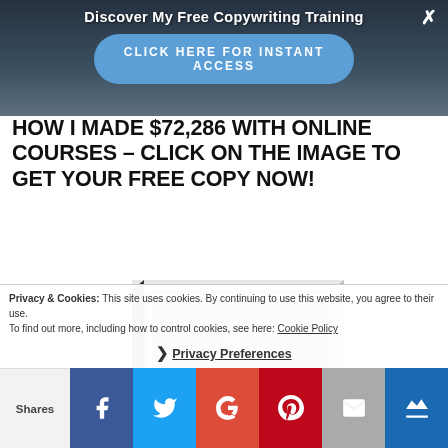Discover My Free Copywriting Training
[Figure (screenshot): Blue oval button with text CLICK HERE FOR INSTANT ACCESS and an X close button on a dark background banner]
HOW I MADE $72,286 WITH ONLINE COURSES – CLICK ON THE IMAGE TO GET YOUR FREE COPY NOW!
[Figure (photo): A book with blue cover showing a middle-aged man in a blue shirt leaning forward, angled 3D book mockup view]
Privacy & Cookies: This site uses cookies. By continuing to use this website, you agree to their use. To find out more, including how to control cookies, see here: Cookie Policy
❯ Privacy Preferences
Shares